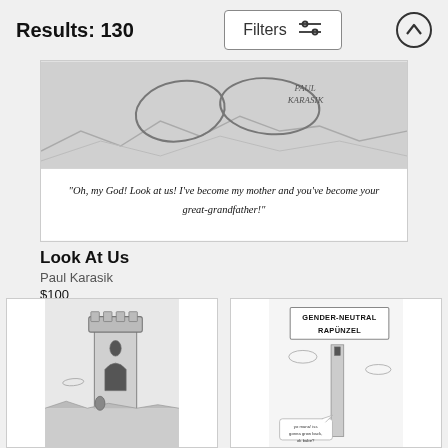Results: 130
Filters
[Figure (illustration): New Yorker style cartoon showing two figures, with handwritten caption: Oh, my God! Look at us! I've become my mother and you've become your great-grandfather! Signed Paul Karasik.]
Look At Us
Paul Karasik
$100
[Figure (illustration): Black and white cartoon illustration of a stone tower with gothic arch doorway, a figure climbing or near the tower, landscape background.]
[Figure (illustration): Black and white cartoon showing a very tall thin tower with a small figure at the bottom, labeled GENDER-NEUTRAL RAPUNZEL at the top, with clouds and a speech bubble.]